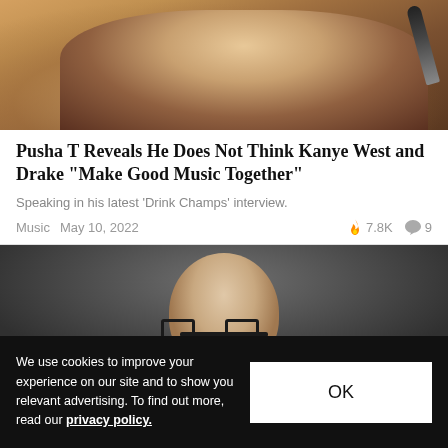[Figure (photo): Photo of Pusha T holding a microphone, wearing a cream sweater and chain bracelet, pointing toward camera, orange/brown background]
Pusha T Reveals He Does Not Think Kanye West and Drake "Make Good Music Together"
Speaking in his latest 'Drink Champs' interview.
Music  May 10, 2022  🔥 7.8K  💬 9
[Figure (photo): Photo of a bald man with glasses against a dark gray background]
We use cookies to improve your experience on our site and to show you relevant advertising. To find out more, read our privacy policy.